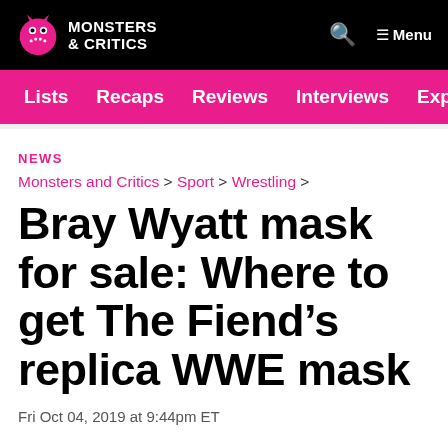Monsters & Critics — Menu
Lists   Recaps   Reviews   Interviews   Explainers
NEWS
Monsters and Critics > Sport > Wrestling >
Bray Wyatt mask for sale: Where to get The Fiend's replica WWE mask
Fri Oct 04, 2019 at 9:44pm ET